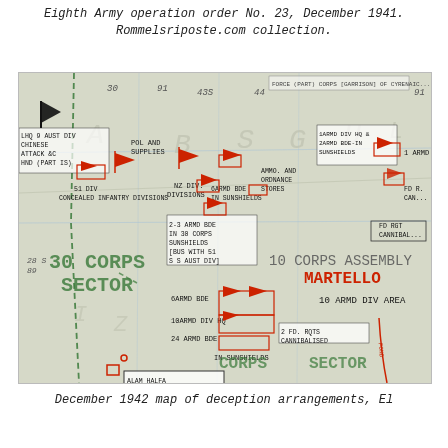Eighth Army operation order No. 23, December 1941.
Rommelsriposte.com collection.
[Figure (map): December 1942 military map showing deception arrangements at El Alamein area. Map shows 30 Corps Sector, 10 Corps Assembly area labeled MARTELLO, various armoured brigade and division positions including 9 Aust Div, NZ Div, 1 Armd Div, 2-3 Armd Bde, 6 Armd Bde, 10 Armd Div, 24 Armd Bde, with red military unit symbols (flags and rectangles). Green dashed lines indicate corps boundaries. Text annotations describe concealed infantry divisions, dummy tanks, flashes, POL and supplies, ammo and ordnance stores.]
December 1942 map of deception arrangements, El